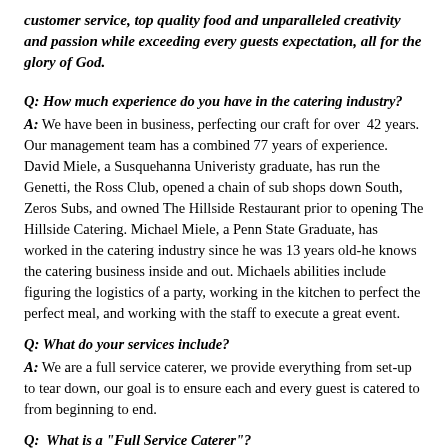customer service, top quality food and unparalleled creativity and passion while exceeding every guests expectation, all for the glory of God.
Q: How much experience do you have in the catering industry? A: We have been in business, perfecting our craft for over 42 years. Our management team has a combined 77 years of experience. David Miele, a Susquehanna Univeristy graduate, has run the Genetti, the Ross Club, opened a chain of sub shops down South, Zeros Subs, and owned The Hillside Restaurant prior to opening The Hillside Catering. Michael Miele, a Penn State Graduate, has worked in the catering industry since he was 13 years old-he knows the catering business inside and out. Michaels abilities include figuring the logistics of a party, working in the kitchen to perfect the perfect meal, and working with the staff to execute a great event.
Q: What do your services include? A: We are a full service caterer, we provide everything from set-up to tear down, our goal is to ensure each and every guest is catered to from beginning to end.
Q: What is a "Full Service Caterer"? A: We consider ourselves to be full service caterers in that we take almost every aspect of an event out of the Host or Guests hands so that